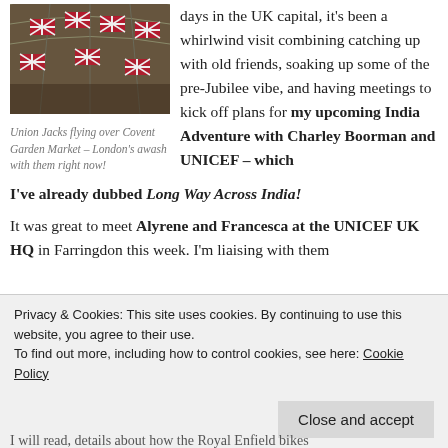[Figure (photo): Union Jacks flags flying over Covent Garden Market interior with glass ceiling]
Union Jacks flying over Covent Garden Market – London's awash with them right now!
days in the UK capital, it's been a whirlwind visit combining catching up with old friends, soaking up some of the pre-Jubilee vibe, and having meetings to kick off plans for my upcoming India Adventure with Charley Boorman and UNICEF – which I've already dubbed Long Way Across India!
It was great to meet Alyrene and Francesca at the UNICEF UK HQ in Farringdon this week. I'm liaising with them
Privacy & Cookies: This site uses cookies. By continuing to use this website, you agree to their use.
To find out more, including how to control cookies, see here: Cookie Policy
Close and accept
I will read, details about how the Royal Enfield bikes